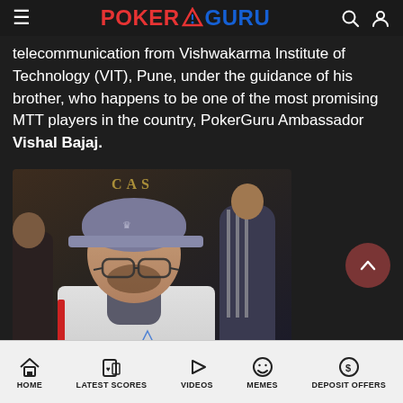POKERGURU (logo with navigation icons)
telecommunication from Vishwakarma Institute of Technology (VIT), Pune, under the guidance of his brother, who happens to be one of the most promising MTT players in the country, PokerGuru Ambassador Vishal Bajaj.
[Figure (photo): Photo of a young man wearing a grey cap and glasses, with a gaiter/neck wrap, dressed in a white jacket with a red stripe. Taken at what appears to be a casino event. Other people visible in the background.]
HOME | LATEST SCORES | VIDEOS | MEMES | DEPOSIT OFFERS